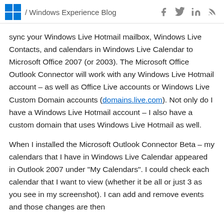/ Windows Experience Blog
sync your Windows Live Hotmail mailbox, Windows Live Contacts, and calendars in Windows Live Calendar to Microsoft Office 2007 (or 2003). The Microsoft Office Outlook Connector will work with any Windows Live Hotmail account – as well as Office Live accounts or Windows Live Custom Domain accounts (domains.live.com). Not only do I have a Windows Live Hotmail account – I also have a custom domain that uses Windows Live Hotmail as well.
When I installed the Microsoft Outlook Connector Beta – my calendars that I have in Windows Live Calendar appeared in Outlook 2007 under "My Calendars". I could check each calendar that I want to view (whether it be all or just 3 as you see in my screenshot). I can add and remove events and those changes are then